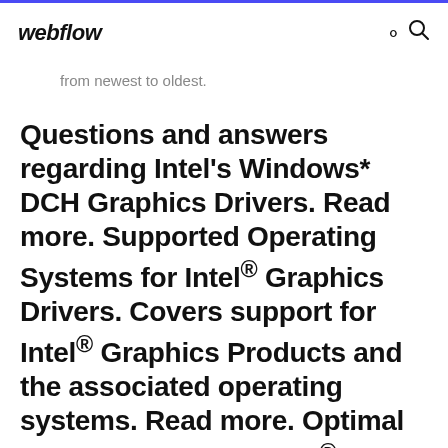webflow
from newest to oldest.
Questions and answers regarding Intel's Windows* DCH Graphics Drivers. Read more. Supported Operating Systems for Intel® Graphics Drivers. Covers support for Intel® Graphics Products and the associated operating systems. Read more. Optimal Game Settings for Intel® Graphics. Get your optimal system settings for